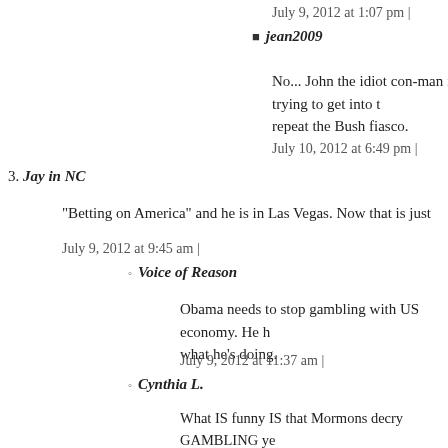July 9, 2012 at 1:07 pm |
jean2009
No... John the idiot con-man is trying to get into t repeat the Bush fiasco.
July 10, 2012 at 6:49 pm |
3. Jay in NC
"Betting on America" and he is in Las Vegas. Now that is just
July 9, 2012 at 9:45 am |
Voice of Reason
Obama needs to stop gambling with US economy. He h what he's doing.
July 9, 2012 at 11:37 am |
Cynthia L.
What IS funny IS that Mormons decry GAMBLING ye see, was hoping he could engage a fellow debate partici THOUSAND DOLLARS!" He got away with it, I guess – Special undergarments m
July 9, 2012 at 3:01 pm |